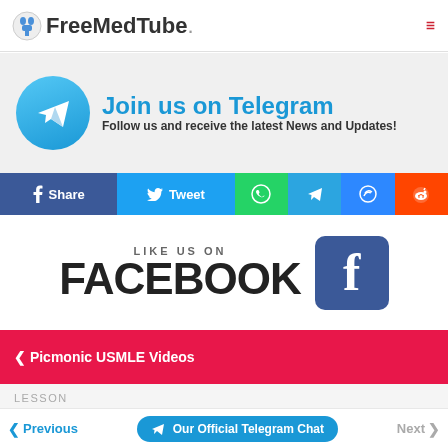FreeMedTube.
[Figure (infographic): Join us on Telegram banner with Telegram logo circle and text: Join us on Telegram - Follow us and receive the latest News and Updates!]
[Figure (infographic): Social share bar with Facebook Share, Tweet, WhatsApp, Telegram, Messenger, Reddit buttons]
[Figure (infographic): Like us on Facebook promotional banner with Facebook icon]
Picmonic USMLE Videos
LESSON
Macroscopic Bone Structure - Picmonic USMLE Vi...
Previous | Our Official Telegram Chat | Next